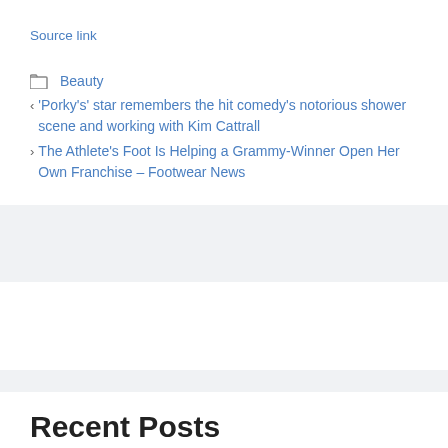Source link
Beauty
‹ 'Porky's' star remembers the hit comedy's notorious shower scene and working with Kim Cattrall
› The Athlete's Foot Is Helping a Grammy-Winner Open Her Own Franchise – Footwear News
Recent Posts